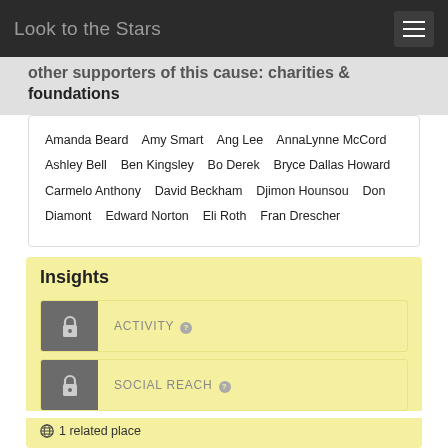Look to the Stars
other supporters of this cause: charities & foundations
Amanda Beard  Amy Smart  Ang Lee  AnnaLynne McCord  Ashley Bell  Ben Kingsley  Bo Derek  Bryce Dallas Howard  Carmelo Anthony  David Beckham  Djimon Hounsou  Don Diamont  Edward Norton  Eli Roth  Fran Drescher
Insights
ACTIVITY
SOCIAL REACH
1 related place